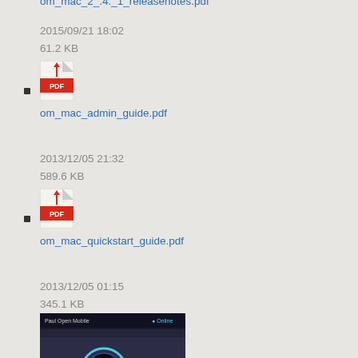om_mac_2_.4._1_releasenotes.pdf
2015/09/21 18:02
61.2 KB
om_mac_admin_guide.pdf
2013/12/05 21:32
589.6 KB
om_mac_quickstart_guide.pdf
2013/12/05 01:15
345.1 KB
[Figure (screenshot): Thumbnail screenshot of om_main_screen.png showing a dark UI with Open Media interface]
om_main_screen.png
1028×660
2014/08/26 20:21